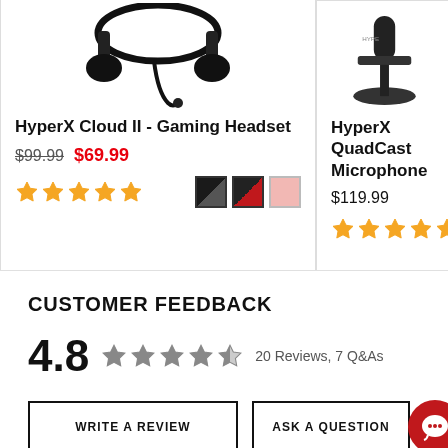[Figure (photo): HyperX Cloud II Gaming Headset product image (top portion visible)]
HyperX Cloud II - Gaming Headset
$99.99  $69.99
[Figure (photo): HyperX QuadCast Microphone product image (top portion visible)]
HyperX QuadCast Microphone
$119.99
CUSTOMER FEEDBACK
4.8  ★★★★★  20 Reviews, 7 Q&As
WRITE A REVIEW
ASK A QUESTION